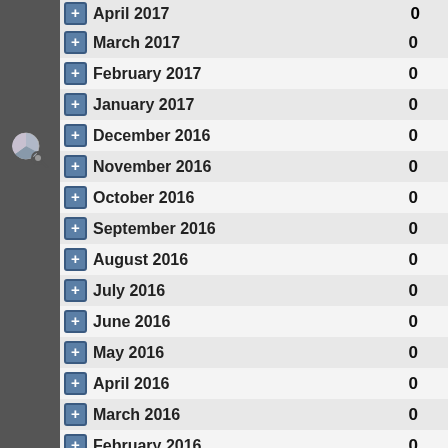| Month | Count |
| --- | --- |
| April 2017 (partial) | 0 |
| March 2017 | 0 |
| February 2017 | 0 |
| January 2017 | 0 |
| December 2016 | 0 |
| November 2016 | 0 |
| October 2016 | 0 |
| September 2016 | 0 |
| August 2016 | 0 |
| July 2016 | 0 |
| June 2016 | 0 |
| May 2016 | 0 |
| April 2016 | 0 |
| March 2016 | 0 |
| February 2016 | 0 |
| January 2016 | 0 |
| December 2015 | 0 |
| November 2015 | 0 |
| October 2015 (partial) | 0 |